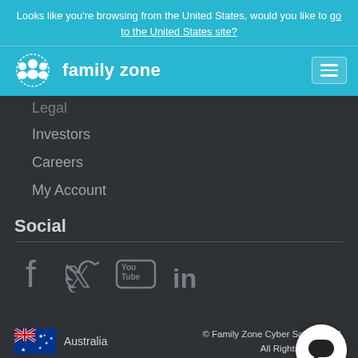Looks like you're browsing from the United States, would you like to go to the United States site?
[Figure (logo): Family Zone logo with three figure icons and text 'family zone' on cyan background, with hamburger menu icon]
Legal
Investors
Careers
My Account
Social
[Figure (infographic): Social media icons: Facebook, Twitter, YouTube, LinkedIn]
Australia
© Family Zone Cyber Safety 2022. All Rights Reserved.